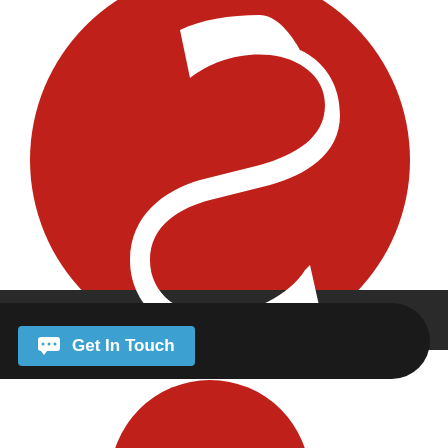[Figure (logo): Large red circle with white letter S logo for a music band]
Get In Touch
POP TWIST JAZZ BAND
[Figure (logo): Partial red circle at bottom of page]